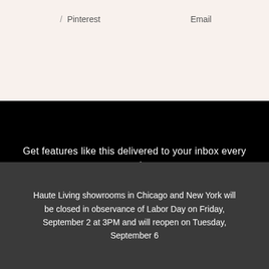/ Pinterest  Email
Get features like this delivered to your inbox every week.
your email
Haute Living showrooms in Chicago and New York will be closed in observance of Labor Day on Friday, September 2 at 3PM and will reopen on Tuesday, September 6